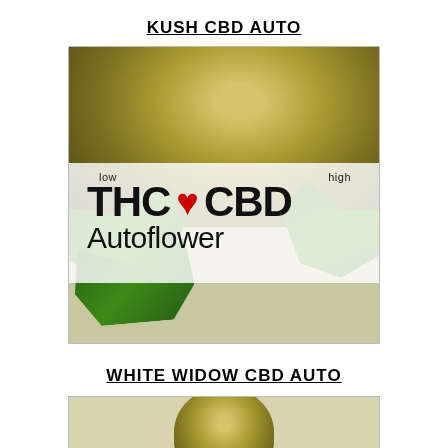KUSH CBD AUTO
[Figure (photo): Cannabis bud photograph with overlay banner showing 'low THC ♥ high CBD Autoflower' text on semi-transparent white background]
WHITE WIDOW CBD AUTO
[Figure (photo): Partial cannabis bud photograph at bottom of page]